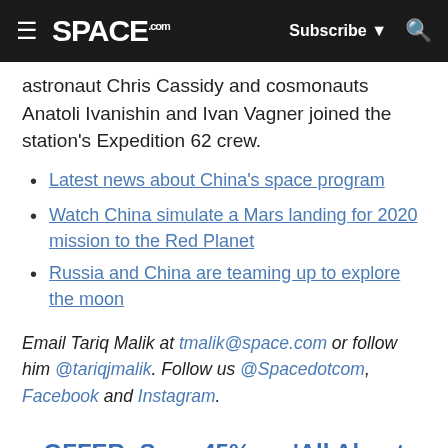SPACE.com | Subscribe | Search
astronaut Chris Cassidy and cosmonauts Anatoli Ivanishin and Ivan Vagner joined the station's Expedition 62 crew.
Latest news about China's space program
Watch China simulate a Mars landing for 2020 mission to the Red Planet
Russia and China are teaming up to explore the moon
Email Tariq Malik at tmalik@space.com or follow him @tariqjmalik. Follow us @Spacedotcom, Facebook and Instagram.
OFFER: Save 45% on 'All About